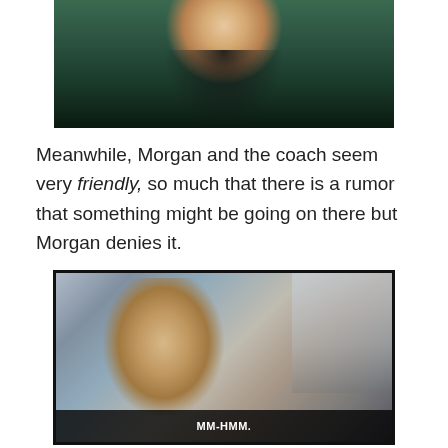[Figure (photo): Top portion of a photo showing a person with light hair against a dark teal/green background, wearing dark clothing]
Meanwhile, Morgan and the coach seem very friendly, so much that there is a rumor that something might be going on there but Morgan denies it.
[Figure (screenshot): Film still showing a man with a mustache wearing a suit and tie, with subtitle text MM-HMM at the bottom]
At the sleepover one of the girls notices a little clay bunny. They ask Morgan where it came from, but Morgan doesn't